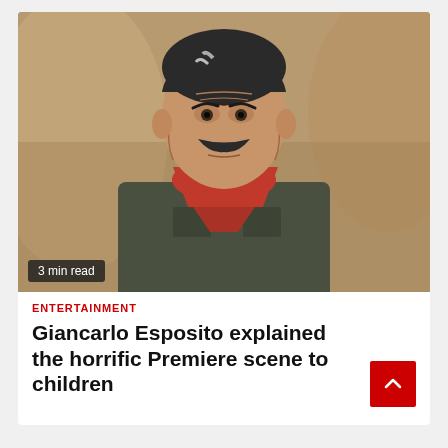[Figure (photo): Man with mustache wearing dark olive/grey button-up shirt and red bandana around neck, standing outdoors in a desert-like setting with blurred rocky background. Badge overlay reads '3 min read'.]
3 min read
ENTERTAINMENT
Giancarlo Esposito explained the horrific Premiere scene to children